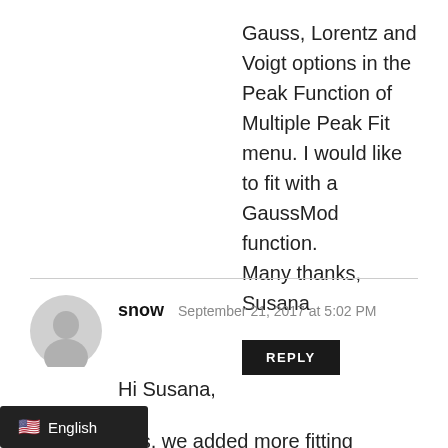Gauss, Lorentz and Voigt options in the Peak Function of Multiple Peak Fit menu. I would like to fit with a GaussMod function.
Many thanks,
Susana
REPLY
snow  September 21, 2017 at 5:02 PM
Hi Susana,
Yes, we added more fitting functions in later versions. In 8.1, there are fewer functions to choose in the...
[Figure (other): English language selector badge with US flag emoji, dark background]